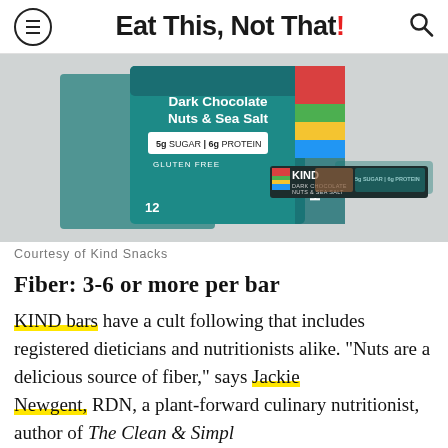Eat This, Not That!
[Figure (photo): KIND Dark Chocolate Nuts & Sea Salt bars — two teal boxes labeled '5g SUGAR | 6g PROTEIN' and 'GLUTEN FREE', with a KIND bar in the foreground showing 'DARK CHOCOLATE NUTS & SEA SALT' text.]
Courtesy of Kind Snacks
Fiber: 3-6 or more per bar
KIND bars have a cult following that includes registered dieticians and nutritionists alike. "Nuts are a delicious source of fiber," says Jackie Newgent, RDN, a plant-forward culinary nutritionist, author of The Clean & Simple...